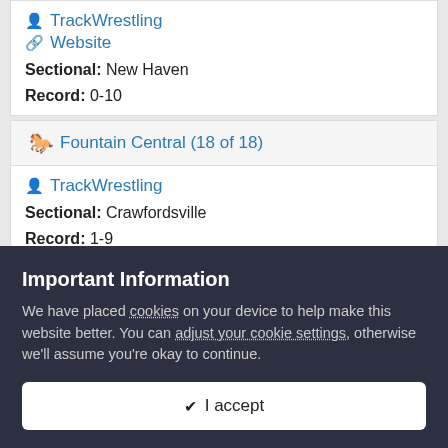TrackWrestling (link)
Website (link)
Sectional: New Haven
Record: 0-10
Fountain Central (18 of 18)
TrackWrestling (link)
Sectional: Crawfordsville
Record: 1-9
Fort (18 of 18) [partially visible]
Important Information
We have placed cookies on your device to help make this website better. You can adjust your cookie settings, otherwise we'll assume you're okay to continue.
✓ I accept